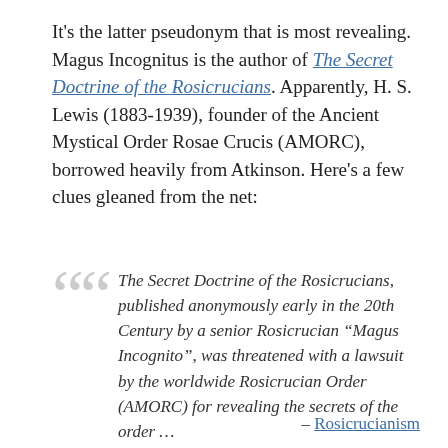It's the latter pseudonym that is most revealing. Magus Incognitus is the author of The Secret Doctrine of the Rosicrucians. Apparently, H. S. Lewis (1883-1939), founder of the Ancient Mystical Order Rosae Crucis (AMORC), borrowed heavily from Atkinson. Here's a few clues gleaned from the net:
The Secret Doctrine of the Rosicrucians, published anonymously early in the 20th Century by a senior Rosicrucian "Magus Incognito", was threatened with a lawsuit by the worldwide Rosicrucian Order (AMORC) for revealing the secrets of the order …
– Rosicrucianism